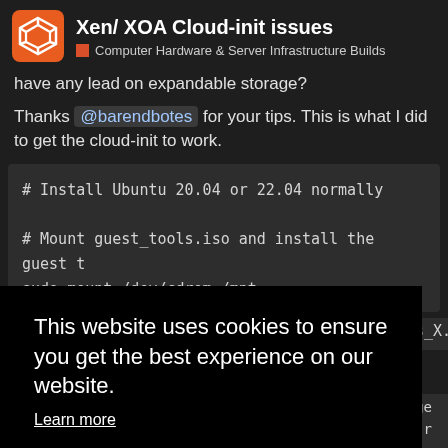Xen/ XOA Cloud-init issues — Computer Hardware & Server Infrastructure Builds
have any lead on expandable storage?
Thanks @barendbotes for your tips. This is what I did to get the cloud-init to work.
# Install Ubuntu 20.04 or 22.04 normally
# Mount guest_tools.iso and install the guest t
sudo mount /dev/cdrom /mnt
[Figure (screenshot): Cookie consent banner overlay with text 'This website uses cookies to ensure you get the best experience on our website.' with 'Learn more' link and 'Got it!' yellow button]
es_X.X.

package
s-dyn-r
sudo rm -rf /etc/cloud/, sudo rm -rf /var/lib/c